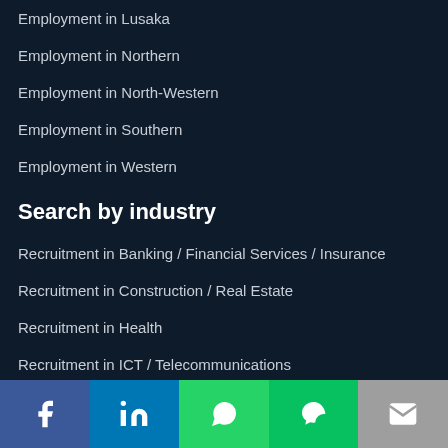Employment in Lusaka
Employment in Northern
Employment in North-Western
Employment in Southern
Employment in Western
Search by industry
Recruitment in Banking / Financial Services / Insurance
Recruitment in Construction / Real Estate
Recruitment in Health
Recruitment in ICT / Telecommunications
Recruitment in Manufacturing
Recruitment in Marketing / Advertising
[Figure (other): Social media share buttons footer bar: Facebook, LinkedIn, WhatsApp, WeChat, Email]